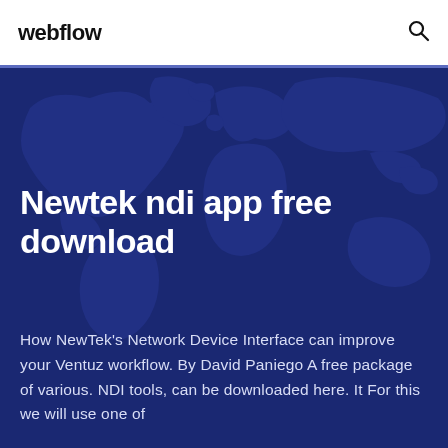webflow
Newtek ndi app free download
How NewTek's Network Device Interface can improve your Ventuz workflow. By David Paniego A free package of various. NDI tools, can be downloaded here. It For this we will use one of